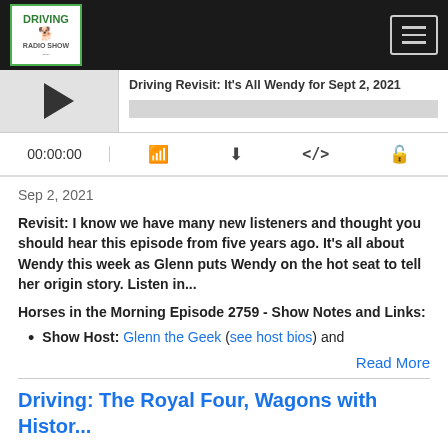Driving Radio Show
[Figure (screenshot): Audio player with play button, title 'Driving Revisit: It's All Wendy for Sept 2, 2021', progress bar, time display 00:00:00, and control icons (RSS, download, embed, cookie)]
Sep 2, 2021
Revisit: I know we have many new listeners and thought you should hear this episode from five years ago. It's all about Wendy this week as Glenn puts Wendy on the hot seat to tell her origin story. Listen in...
Horses in the Morning Episode 2759 - Show Notes and Links:
Show Host: Glenn the Geek (see host bios) and
Read More
Driving: The Royal Four, Wagons with Histor...